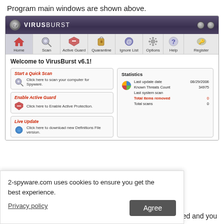Program main windows are shown above.
[Figure (screenshot): VirusBurst v6.1 antivirus program main window screenshot showing toolbar with Home, Scan, Active Guard, Quarantine, Ignore List, Options, Help, Register buttons. Content area shows Welcome to VirusBurst v6.1! with Start a Quick Scan, Enable Active Guard, Live Update action panels on left, and Statistics panel on right showing Last update date 08/29/2006, Known Threats Count 34975, Last system scan, Total items removed 0 (in red), Total scans 0.]
2-spyware.com uses cookies to ensure you get the best experience.
Privacy policy
Agree
anged and you